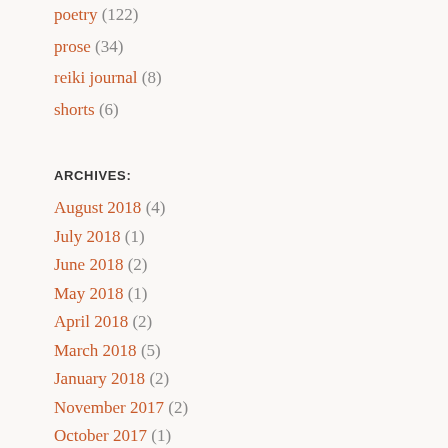poetry (122)
prose (34)
reiki journal (8)
shorts (6)
ARCHIVES:
August 2018 (4)
July 2018 (1)
June 2018 (2)
May 2018 (1)
April 2018 (2)
March 2018 (5)
January 2018 (2)
November 2017 (2)
October 2017 (1)
September 2017 (1)
August 2017 (1)